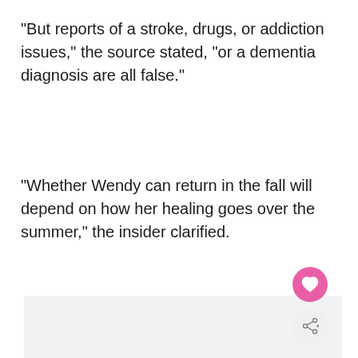"But reports of a stroke, drugs, or addiction issues," the source stated, "or a dementia diagnosis are all false."
"Whether Wendy can return in the fall will depend on how her healing goes over the summer," the insider clarified.
[Figure (other): Partially visible image area with light gray/white background, with pink heart button and share button overlaid in bottom-right corner]